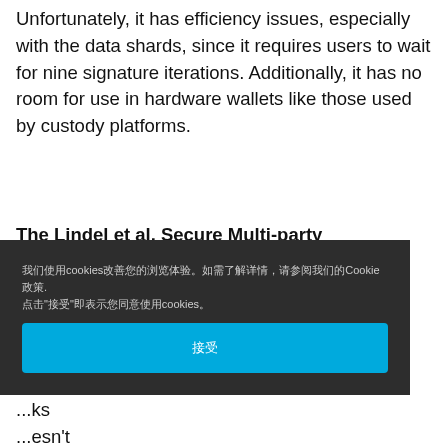Unfortunately, it has efficiency issues, especially with the data shards, since it requires users to wait for nine signature iterations. Additionally, it has no room for use in hardware wallets like those used by custody platforms.
The Lindel et al. Secure Multi-party
Cookie overlay (in Chinese): We use cookies to improve your browsing experience. For details, see our Cookie Policy. By clicking 'Accept', you agree to the use of cookies.
doesn't provide the required efficiency for today's